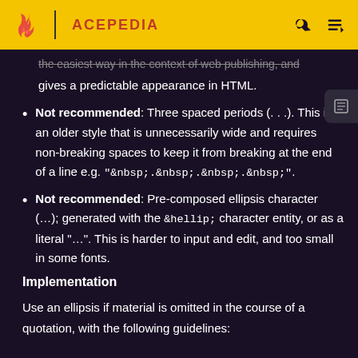ACEPEDIA
the easiest way in the context of web publishing, and gives a predictable appearance in HTML.
Not recommended: Three spaced periods (. . .). This is an older style that is unnecessarily wide and requires non-breaking spaces to keep it from breaking at the end of a line e.g. "&nbsp;.&nbsp;.&nbsp;.&nbsp;".
Not recommended: Pre-composed ellipsis character (…); generated with the &hellip; character entity, or as a literal "…". This is harder to input and edit, and too small in some fonts.
Implementation
Use an ellipsis if material is omitted in the course of a quotation, with the following guidelines: